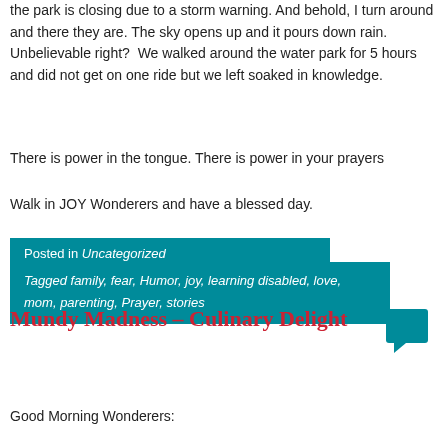the park is closing due to a storm warning. And behold, I turn around and there they are. The sky opens up and it pours down rain.  Unbelievable right?  We walked around the water park for 5 hours and did not get on one ride but we left soaked in knowledge.
There is power in the tongue. There is power in your prayers
Walk in JOY Wonderers and have a blessed day.
Posted in Uncategorized
Tagged family, fear, Humor, joy, learning disabled, love, mom, parenting, Prayer, stories
Mundy Madness – Culinary Delight
Good Morning Wonderers: